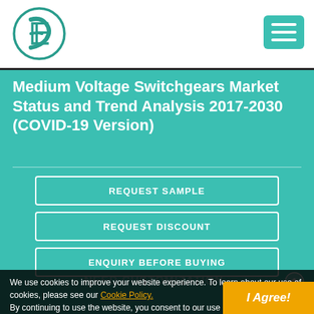[Figure (logo): Circular logo with letter E in teal/green color]
Medium Voltage Switchgears Market Status and Trend Analysis 2017-2030 (COVID-19 Version)
REQUEST SAMPLE
REQUEST DISCOUNT
ENQUIRY BEFORE BUYING
We use cookies to improve your website experience. To learn about our use of cookies, please see our Cookie Policy. By continuing to use the website, you consent to our use of cookies.
I Agree!